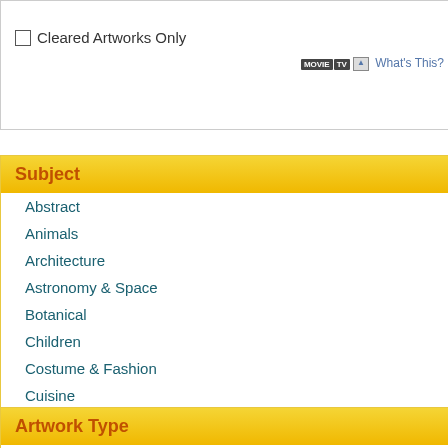Cleared Artworks Only  MOVIE TV  What's This?
Subject
Abstract
Animals
Architecture
Astronomy & Space
Botanical
Children
Costume & Fashion
Cuisine
Dance
Education
Fantasy (partially visible)
Expand
[Figure (photo): Painting of a tree silhouette against an orange/pink sky - artwork titled Mother Nature]
Mother Nature
[Figure (photo): Partial view of a painting - artwork titled Twin Mother (partially visible on right edge)]
Twin Mot...
[Figure (photo): Colorful painting of two stylized female figures with flowing orange/red hair - artwork titled The Mother]
The Mother
Artwork Type